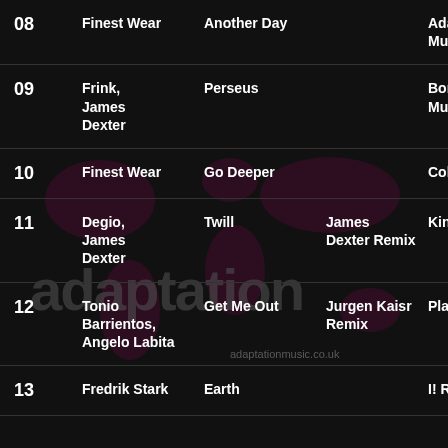| # | Artist | Title | Remix | Label |
| --- | --- | --- | --- | --- |
| 08 | Finest Wear | Another Day |  | Adaptation Music |
| 09 | Frink, James Dexter | Perseus |  | Bondage Music |
| 10 | Finest Wear | Go Deeper |  | Colour & Pitch |
| 11 | Degio, James Dexter | Twill | James Dexter Remix | Kina Music |
| 12 | Tonio Barrientos, Angelo Labita | Get Me Out | Jurgen Kaisr Remix | Plastic City |
| 13 | Fredrik Stark | Earth |  | I! Records |